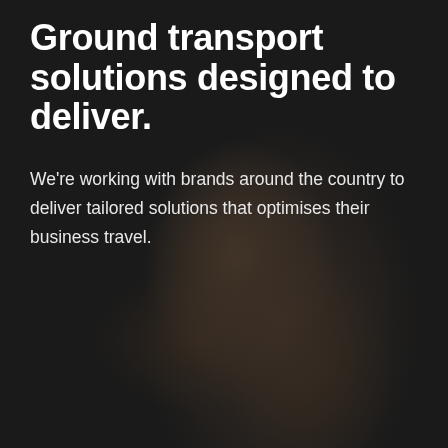[Figure (photo): Dark moody background photo of a person, heavily darkened overlay, showing blurred dark tones suggesting hair/head in lower portion of image]
Ground transport solutions designed to deliver.
We're working with brands around the country to deliver tailored solutions that optimises their business travel.